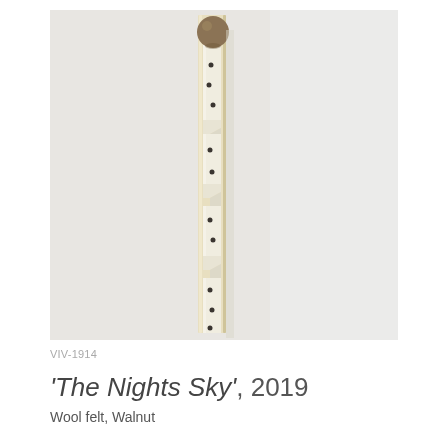[Figure (photo): A sculptural artwork mounted on a white wall. It consists of a tall, narrow vertical piece made of cream/ivory wool felt with chevron-cut notches along its length, mounted on a light wood backing panel. A round wooden ball (walnut) tops the piece. Small dark nail or pin dots are visible across the felt surface.]
VIV-1914
'The Nights Sky', 2019
Wool felt, Walnut